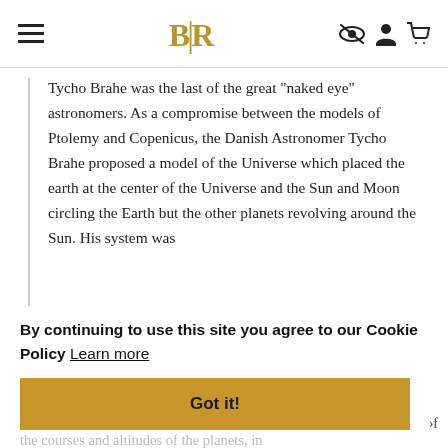BLR [navigation bar with hamburger menu, logo, and icons]
Tycho Brahe was the last of the great "naked eye" astronomers. As a compromise between the models of Ptolemy and Copenicus, the Danish Astronomer Tycho Brahe proposed a model of the Universe which placed the earth at the center of the Universe and the Sun and Moon circling the Earth but the other planets revolving around the Sun. His system was
By continuing to use this site you agree to our Cookie Policy  Learn more
Got it!
the courses and altitudes of the planets, in